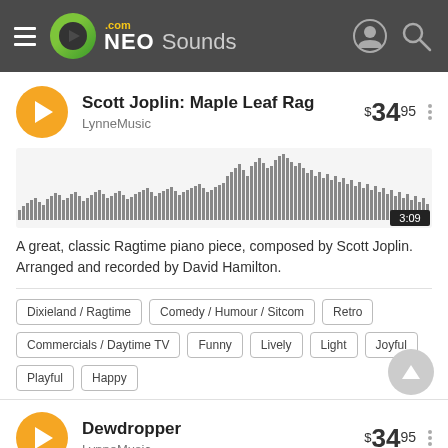NEO Sounds .com
Scott Joplin: Maple Leaf Rag
LynneMusic
$34.95
[Figure (other): Audio waveform visualization showing amplitude over time for the track. Duration shown as 3:09.]
A great, classic Ragtime piano piece, composed by Scott Joplin. Arranged and recorded by David Hamilton.
Dixieland / Ragtime
Comedy / Humour / Sitcom
Retro
Commercials / Daytime TV
Funny
Lively
Light
Joyful
Playful
Happy
Dewdropper
LynneMusic
$34.95